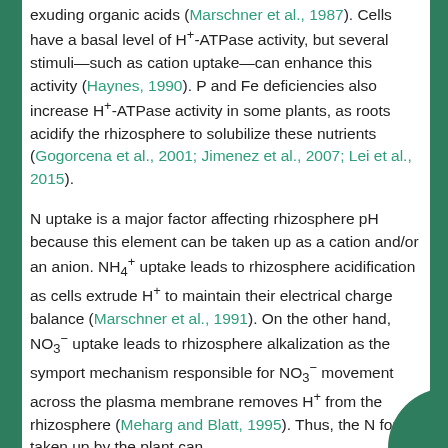exuding organic acids (Marschner et al., 1987). Cells have a basal level of H+-ATPase activity, but several stimuli—such as cation uptake—can enhance this activity (Haynes, 1990). P and Fe deficiencies also increase H+-ATPase activity in some plants, as roots acidify the rhizosphere to solubilize these nutrients (Gogorcena et al., 2001; Jimenez et al., 2007; Lei et al., 2015).
N uptake is a major factor affecting rhizosphere pH because this element can be taken up as a cation and/or an anion. NH4+ uptake leads to rhizosphere acidification as cells extrude H+ to maintain their electrical charge balance (Marschner et al., 1991). On the other hand, NO3- uptake leads to rhizosphere alkalization as the symport mechanism responsible for NO3- movement across the plasma membrane removes H+ from the rhizosphere (Meharg and Blatt, 1995). Thus, the N form taken up by the plant can